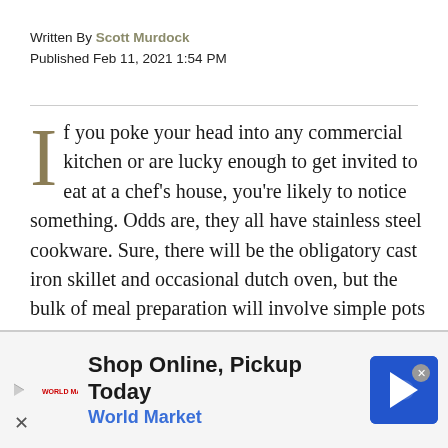Written By Scott Murdock
Published Feb 11, 2021 1:54 PM
If you poke your head into any commercial kitchen or are lucky enough to get invited to eat at a chef's house, you're likely to notice something. Odds are, they all have stainless steel cookware. Sure, there will be the obligatory cast iron skillet and occasional dutch oven, but the bulk of meal preparation will involve simple pots and pans made from good old stainless steel. This metal has become a mainstay by conveying heat from the stove to food efficiently and evenly,
[Figure (other): World Market advertisement banner: Shop Online, Pickup Today]